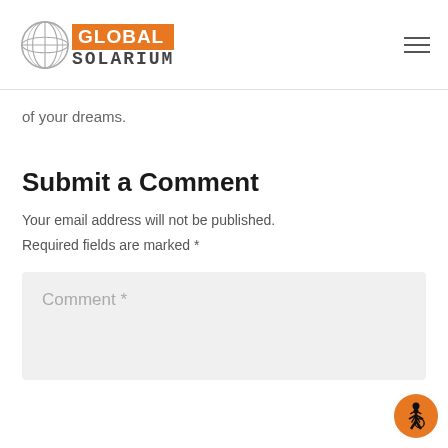GLOBAL SOLARIUM
of your dreams.
Submit a Comment
Your email address will not be published. Required fields are marked *
Comment *
[Figure (illustration): Accessibility icon — orange circle with wheelchair user symbol in black]